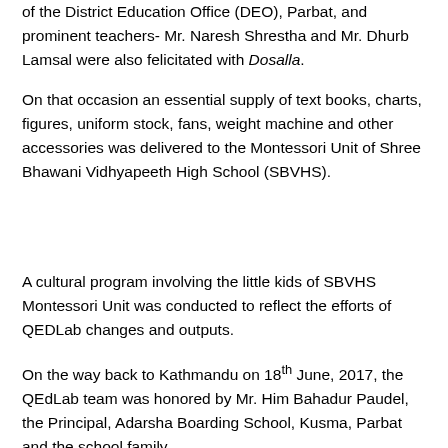of the District Education Office (DEO), Parbat, and prominent teachers- Mr. Naresh Shrestha and Mr. Dhurb Lamsal were also felicitated with Dosalla.
On that occasion an essential supply of text books, charts, figures, uniform stock, fans, weight machine and other accessories was delivered to the Montessori Unit of Shree Bhawani Vidhyapeeth High School (SBVHS).
A cultural program involving the little kids of SBVHS Montessori Unit was conducted to reflect the efforts of QEDLab changes and outputs.
On the way back to Kathmandu on 18th June, 2017, the QEdLab team was honored by Mr. Him Bahadur Paudel, the Principal, Adarsha Boarding School, Kusma, Parbat and the school family